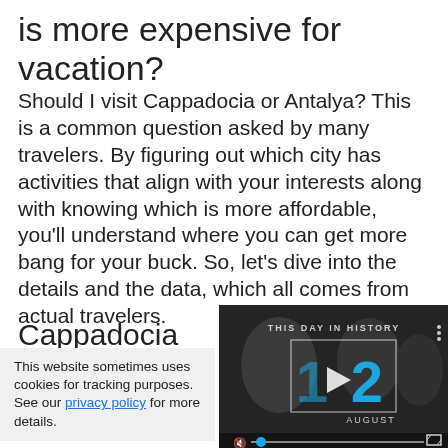is more expensive for vacation?
Should I visit Cappadocia or Antalya? This is a common question asked by many travelers. By figuring out which city has activities that align with your interests along with knowing which is more affordable, you'll understand where you can get more bang for your buck. So, let's dive into the details and the data, which all comes from actual travelers.
Cappadocia
This website sometimes uses cookies for tracking purposes. See our privacy policy for more details.
[Figure (screenshot): Video thumbnail showing 'THIS DAY IN HISTORY' with the date 12 AUGUST displayed in blue text, with a play button overlay and video controls at the bottom including mute and fullscreen icons.]